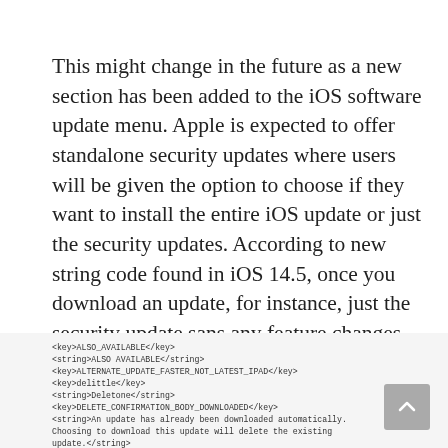This might change in the future as a new section has been added to the iOS software update menu. Apple is expected to offer standalone security updates where users will be given the option to choose if they want to install the entire iOS update or just the security updates. According to new string code found in iOS 14.5, once you download an update, for instance, just the security update sans any feature changes, you will have to delete it before installing a newer available iOS update.
[Figure (screenshot): Screenshot of iOS string code XML showing keys and strings related to ALSO_AVAILABLE, ALTERNATE_UPDATE_FASTER_NOT_LATEST_IPAD, DELETE_CONFIRMATION_BODY_DOWNLOADED, DELETE_CONFIRMATION_BODY_DOWNLOADING entries]